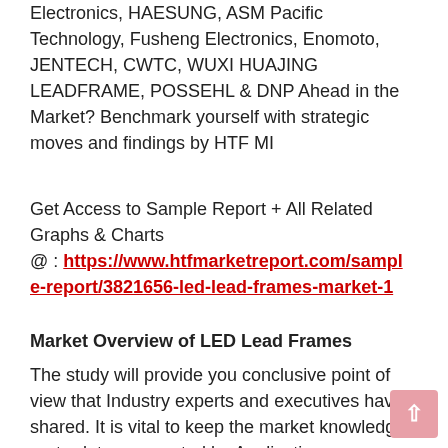Electronics, HAESUNG, ASM Pacific Technology, Fusheng Electronics, Enomoto, JENTECH, CWTC, WUXI HUAJING LEADFRAME, POSSEHL & DNP Ahead in the Market? Benchmark yourself with strategic moves and findings by HTF MI
Get Access to Sample Report + All Related Graphs & Charts @ : https://www.htfmarketreport.com/sample-report/3821656-led-lead-frames-market-1
Market Overview of LED Lead Frames
The study will provide you conclusive point of view that Industry experts and executives have shared. It is vital to keep the market knowledge up-to-date segmented by Applications